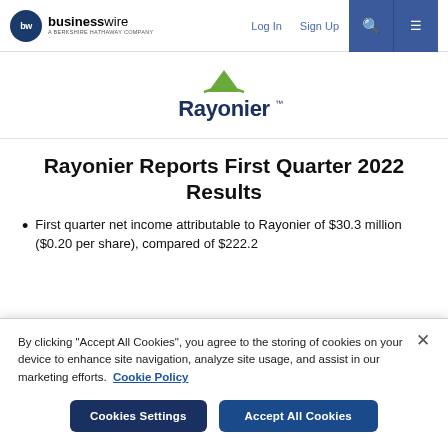businesswire — A BERKSHIRE HATHAWAY COMPANY | Log In | Sign Up
[Figure (logo): Rayonier company logo with green mountain/triangle icon above stylized navy 'Rayonier' wordmark]
Rayonier Reports First Quarter 2022 Results
First quarter net income attributable to Rayonier of $30.3 million ($0.20 per share), compared of $222.2...
By clicking "Accept All Cookies", you agree to the storing of cookies on your device to enhance site navigation, analyze site usage, and assist in our marketing efforts.  Cookie Policy
Cookies Settings | Accept All Cookies